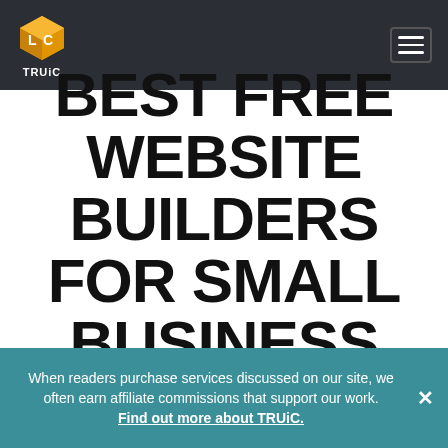[Figure (logo): TRUiC logo — orange 3D cube with LC letters and TRUiC text below, in dark header bar with hamburger menu icon]
BEST FREE WEBSITE BUILDERS FOR SMALL BUSINESS
When readers purchase services discussed on our site, we often earn affiliate commissions that support our work. Find out more about TRUiC.